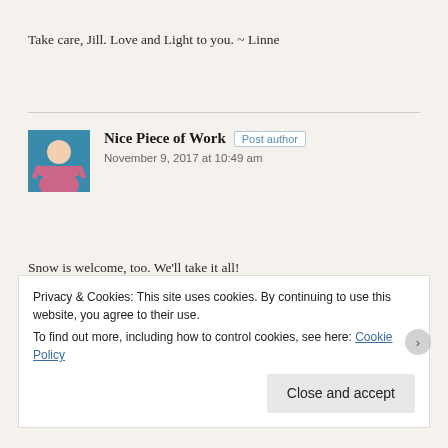Take care, Jill. Love and Light to you. ~ Linne
Nice Piece of Work  Post author
November 9, 2017 at 10:49 am
Snow is welcome, too. We'll take it all!
We are due for a coolish weekend ahead and next week as well, with a slight chance of rain. Fingers crossed.
Privacy & Cookies: This site uses cookies. By continuing to use this website, you agree to their use.
To find out more, including how to control cookies, see here: Cookie Policy
Close and accept